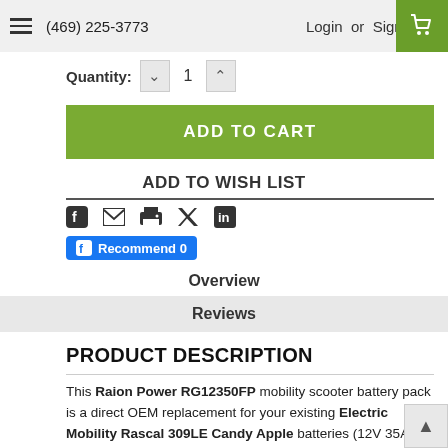(469) 225-3773  Login or Sign Up
Quantity: 1
ADD TO CART
ADD TO WISH LIST
[Figure (other): Social sharing icons: Facebook, Email, Print, Twitter, LinkedIn; Facebook Recommend 0 button]
Overview
Reviews
PRODUCT DESCRIPTION
This Raion Power RG12350FP mobility scooter battery pack is a direct OEM replacement for your existing Electric Mobility Rascal 309LE Candy Apple batteries (12V 35Ah). Raion Power RG12350FP (12V 35Ah) rechargeable battery pack is guaranteed to meet or exceed OEM specifications. We assure 100% compatibility with your existing